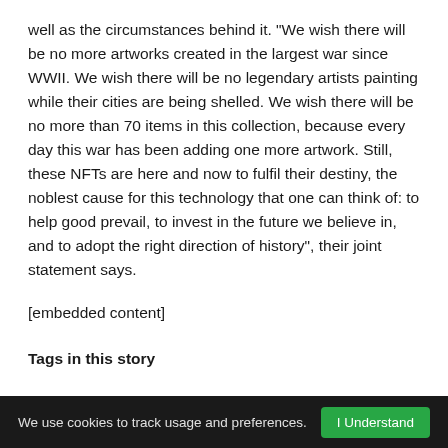well as the circumstances behind it. "We wish there will be no more artworks created in the largest war since WWII. We wish there will be no legendary artists painting while their cities are being shelled. We wish there will be no more than 70 items in this collection, because every day this war has been adding one more artwork. Still, these NFTs are here and now to fulfil their destiny, the noblest cause for this technology that one can think of: to help good prevail, to invest in the future we believe in, and to adopt the right direction of history", their joint statement says.
[embedded content]
Tags in this story
We use cookies to track usage and preferences.  I Understand